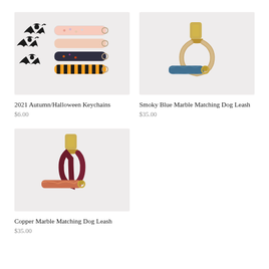[Figure (photo): Photo of multiple fabric keychains with Halloween/autumn patterns including bats, florals, stripes, arranged on white background with black bat cutouts]
2021 Autumn/Halloween Keychains
$6.00
[Figure (photo): Photo of a smoky blue marble patterned dog leash with gold hardware clip and ring on light background]
Smoky Blue Marble Matching Dog Leash
$35.00
[Figure (photo): Photo of a copper marble and dark burgundy/maroon dog leash with gold hardware clip on light background]
Copper Marble Matching Dog Leash
$35.00